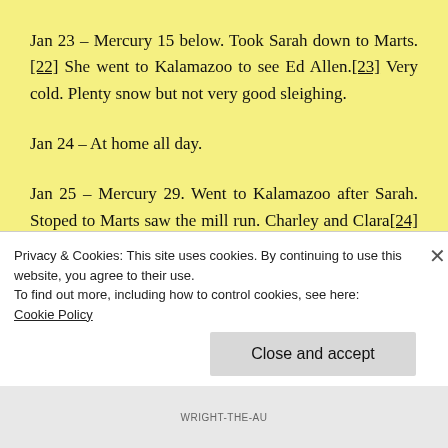Jan 23 – Mercury 15 below. Took Sarah down to Marts.[22] She went to Kalamazoo to see Ed Allen.[23] Very cold. Plenty snow but not very good sleighing.
Jan 24 – At home all day.
Jan 25 – Mercury 29. Went to Kalamazoo after Sarah. Stoped to Marts saw the mill run. Charley and Clara[24] stayed here.
Privacy & Cookies: This site uses cookies. By continuing to use this website, you agree to their use.
To find out more, including how to control cookies, see here:
Cookie Policy
Close and accept